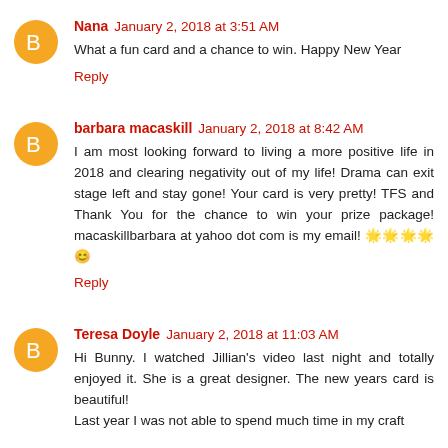Nana January 2, 2018 at 3:51 AM
What a fun card and a chance to win. Happy New Year
Reply
barbara macaskill January 2, 2018 at 8:42 AM
I am most looking forward to living a more positive life in 2018 and clearing negativity out of my life! Drama can exit stage left and stay gone! Your card is very pretty! TFS and Thank You for the chance to win your prize package! macaskillbarbara at yahoo dot com is my email! 🌟🌟🌟🌟😊
Reply
Teresa Doyle January 2, 2018 at 11:03 AM
Hi Bunny. I watched Jillian's video last night and totally enjoyed it. She is a great designer. The new years card is beautiful!
Last year I was not able to spend much time in my craft